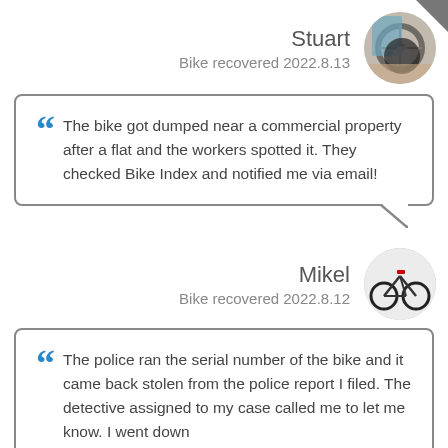Stuart
Bike recovered 2022.8.13
[Figure (photo): Circular avatar photo of a bicycle wheel in a room setting]
The bike got dumped near a commercial property after a flat and the workers spotted it. They checked Bike Index and notified me via email!
Mikel
Bike recovered 2022.8.12
[Figure (photo): Circular avatar photo of a road bicycle leaning against a white wall]
The police ran the serial number of the bike and it came back stolen from the police report I filed. The detective assigned to my case called me to let me know. I went down